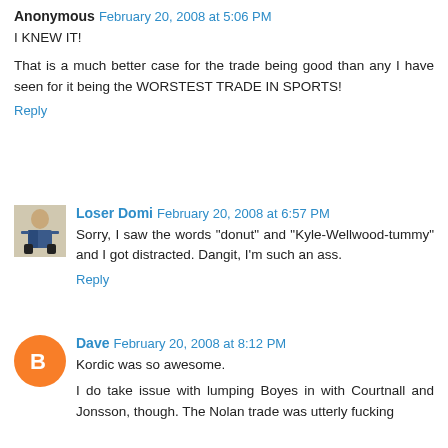Anonymous  February 20, 2008 at 5:06 PM
I KNEW IT!
That is a much better case for the trade being good than any I have seen for it being the WORSTEST TRADE IN SPORTS!
Reply
[Figure (photo): Avatar photo of Loser Domi — a person in a sports uniform]
Loser Domi  February 20, 2008 at 6:57 PM
Sorry, I saw the words "donut" and "Kyle-Wellwood-tummy" and I got distracted. Dangit, I'm such an ass.
Reply
[Figure (logo): Blogger default avatar — orange circle with white B icon]
Dave  February 20, 2008 at 8:12 PM
Kordic was so awesome.
I do take issue with lumping Boyes in with Courtnall and Jonsson, though. The Nolan trade was utterly fucking…